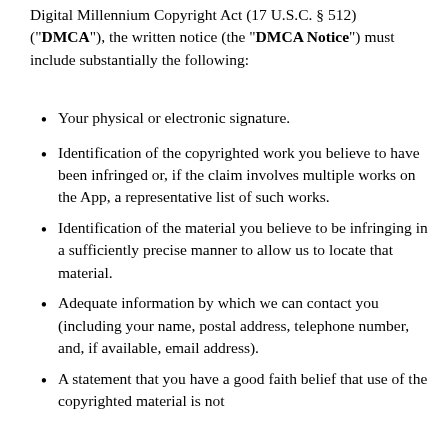Digital Millennium Copyright Act (17 U.S.C. § 512) ("DMCA"), the written notice (the "DMCA Notice") must include substantially the following:
Your physical or electronic signature.
Identification of the copyrighted work you believe to have been infringed or, if the claim involves multiple works on the App, a representative list of such works.
Identification of the material you believe to be infringing in a sufficiently precise manner to allow us to locate that material.
Adequate information by which we can contact you (including your name, postal address, telephone number, and, if available, email address).
A statement that you have a good faith belief that use of the copyrighted material is not